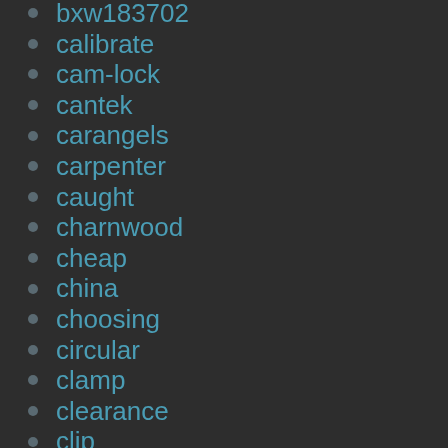bxw183702
calibrate
cam-lock
cantek
carangels
carpenter
caught
charnwood
cheap
china
choosing
circular
clamp
clearance
clip